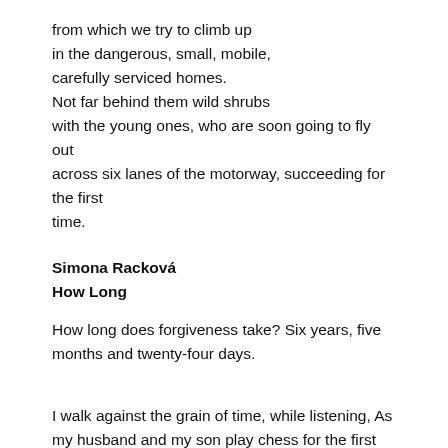from which we try to climb up
in the dangerous, small, mobile,
carefully serviced homes.
Not far behind them wild shrubs
with the young ones, who are soon going to fly out
across six lanes of the motorway, succeeding for the first time.
Simona Racková
How Long
How long does forgiveness take?
Six years, five months and twenty-four days.
I walk against the grain of time, while listening,
As my husband and my son play chess for the first time:
You can't make a move twice in a row.